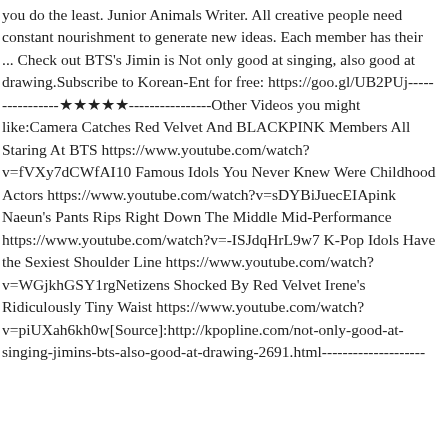you do the least. Junior Animals Writer. All creative people need constant nourishment to generate new ideas. Each member has their ... Check out BTS's Jimin is Not only good at singing, also good at drawing.Subscribe to Korean-Ent for free: https://goo.gl/UB2PUj----------------★★★★★----------------Other Videos you might like:Camera Catches Red Velvet And BLACKPINK Members All Staring At BTS https://www.youtube.com/watch?v=fVXy7dCWfAI10 Famous Idols You Never Knew Were Childhood Actors https://www.youtube.com/watch?v=sDYBiJuecEIApink Naeun's Pants Rips Right Down The Middle Mid-Performance https://www.youtube.com/watch?v=-ISJdqHrL9w7 K-Pop Idols Have the Sexiest Shoulder Line https://www.youtube.com/watch?v=WGjkhGSY1rgNetizens Shocked By Red Velvet Irene's Ridiculously Tiny Waist https://www.youtube.com/watch?v=piUXah6kh0w[Source]:http://kpopline.com/not-only-good-at-singing-jimins-bts-also-good-at-drawing-2691.html--------------------